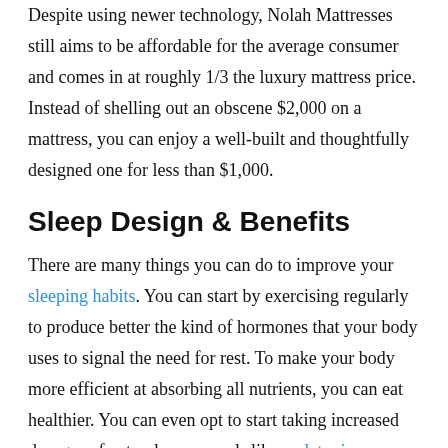Despite using newer technology, Nolah Mattresses still aims to be affordable for the average consumer and comes in at roughly 1/3 the luxury mattress price. Instead of shelling out an obscene $2,000 on a mattress, you can enjoy a well-built and thoughtfully designed one for less than $1,000.
Sleep Design & Benefits
There are many things you can do to improve your sleeping habits. You can start by exercising regularly to produce better the kind of hormones that your body uses to signal the need for rest. To make your body more efficient at absorbing all nutrients, you can eat healthier. You can even opt to start taking increased dosages of natural compounds like melatonin or valerian root to assist you in falling asleep.
A Nolah Mattress can do similar things for your sleep based on its mattress designs. Nolah mattresses would usually come in a 3-layer design built to be as comfortable as it can be for the average